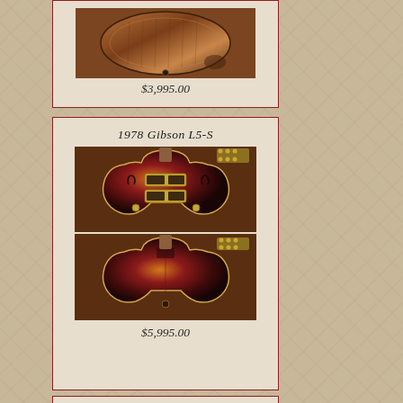[Figure (photo): Partial view of a guitar listing card showing price $3,995.00 — acoustic guitar back view]
$3,995.00
[Figure (photo): 1978 Gibson L5-S guitar listing card with front and back photos of a cherry sunburst electric guitar]
1978 Gibson L5-S
$5,995.00
[Figure (photo): Partial bottom card — another guitar listing, content cut off]